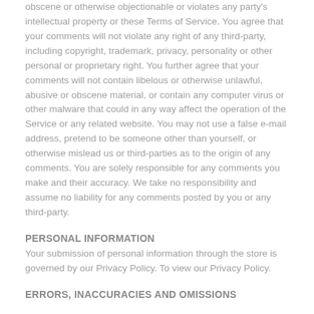obscene or otherwise objectionable or violates any party's intellectual property or these Terms of Service. You agree that your comments will not violate any right of any third-party, including copyright, trademark, privacy, personality or other personal or proprietary right. You further agree that your comments will not contain libelous or otherwise unlawful, abusive or obscene material, or contain any computer virus or other malware that could in any way affect the operation of the Service or any related website. You may not use a false e-mail address, pretend to be someone other than yourself, or otherwise mislead us or third-parties as to the origin of any comments. You are solely responsible for any comments you make and their accuracy. We take no responsibility and assume no liability for any comments posted by you or any third-party.
PERSONAL INFORMATION
Your submission of personal information through the store is governed by our Privacy Policy. To view our Privacy Policy.
ERRORS, INACCURACIES AND OMISSIONS